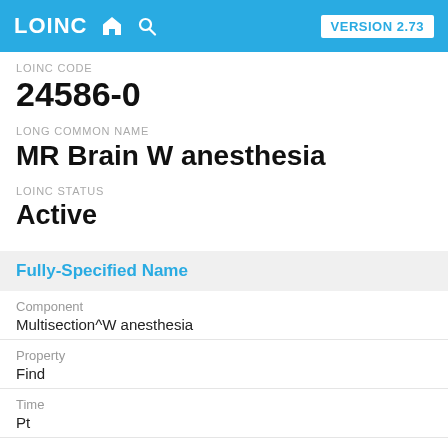LOINC VERSION 2.73
LOINC CODE
24586-0
LONG COMMON NAME
MR Brain W anesthesia
LOINC STATUS
Active
Fully-Specified Name
Component
Multisection^W anesthesia
Property
Find
Time
Pt